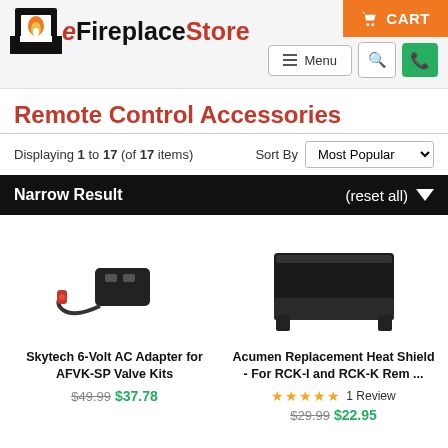[Figure (logo): eFireplaceStore logo with flame icon]
Remote Control Accessories
Displaying 1 to 17 (of 17 items)   Sort By  Most Popular
Narrow Result   (reset all)
[Figure (photo): Skytech 6-Volt AC Adapter with red connector and cable]
Skytech 6-Volt AC Adapter for AFVK-SP Valve Kits
$49.99  $37.78
[Figure (photo): Acumen Replacement Heat Shield - black rectangular box]
Acumen Replacement Heat Shield - For RCK-I and RCK-K Rem ...
★★★★★ 1 Review
$29.99  $22.95